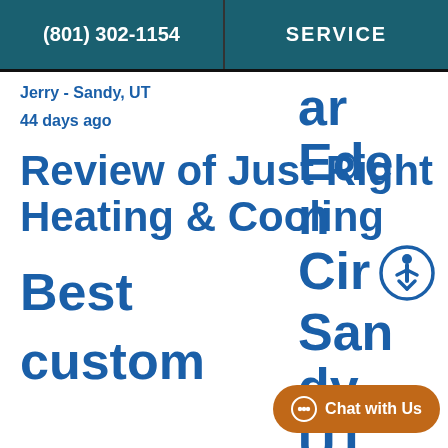(801) 302-1154  SERVICE
Jerry - Sandy, UT
44 days ago
Review of Just Right Heating & Cooling
Best customer
ar Ede n Cir San dy, UT 84